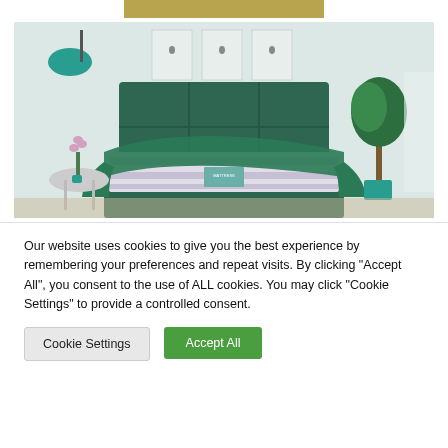[Figure (photo): A bedroom scene showing a green upholstered bed with a tufted headboard, a striped mattress partially visible, green throw blanket, teal pendant lamp, white bedside table with orchid, and a potted tree near a window.]
Our website uses cookies to give you the best experience by remembering your preferences and repeat visits. By clicking "Accept All", you consent to the use of ALL cookies. You may click "Cookie Settings" to provide a controlled consent.
Cookie Settings
Accept All